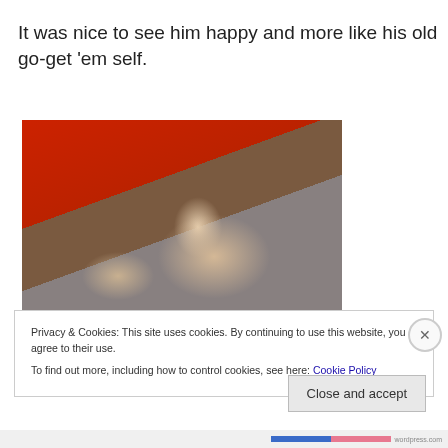It was nice to see him happy and more like his old go-get 'em self.
[Figure (photo): A young child in a red shirt doing a somersault or headstand on a carpeted floor indoors, with furniture visible in background.]
Privacy & Cookies: This site uses cookies. By continuing to use this website, you agree to their use.
To find out more, including how to control cookies, see here: Cookie Policy
Close and accept